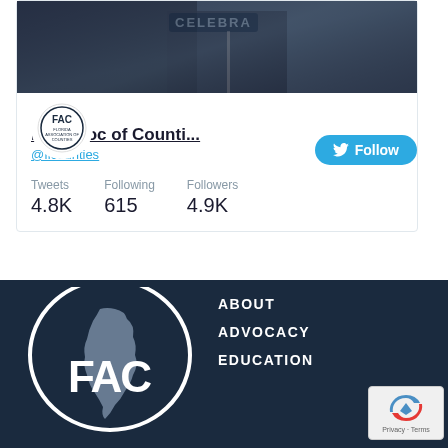[Figure (screenshot): Twitter profile card for FL Assoc of Counties (@flcounties) showing header photo of a man speaking at a podium with 'CELEBRA' sign, FAC Florida Association of Counties logo profile picture, a Follow button, and stats: Tweets 4.8K, Following 615, Followers 4.9K]
[Figure (logo): FAC Florida Association of Counties logo - white circle with Florida state outline in gray and white FAC letters on dark navy background, with navigation links ABOUT, ADVOCACY, EDUCATION and a reCAPTCHA privacy badge]